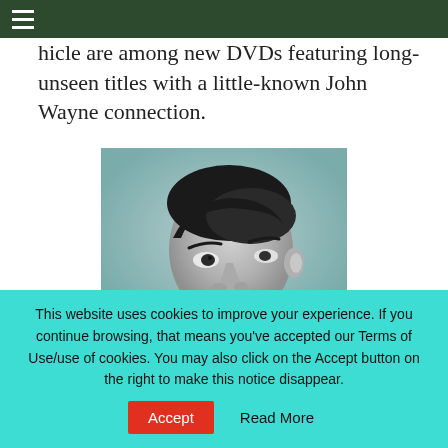≡ (navigation menu)
hicle are among new DVDs featuring long-unseen titles with a little-known John Wayne connection.
[Figure (photo): Black and white portrait photo of a young man with dark slicked-back hair, shown from the shoulders up in three-quarter profile view.]
This website uses cookies to improve your experience. If you continue browsing, that means you've accepted our Terms of Use/use of cookies. You may also click on the Accept button on the right to make this notice disappear.